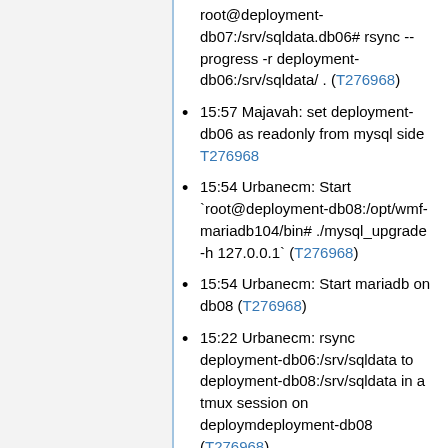root@deployment-db07:/srv/sqldata.db06# rsync --progress -r deployment-db06:/srv/sqldata/ . (T276968)
15:57 Majavah: set deployment-db06 as readonly from mysql side T276968
15:54 Urbanecm: Start `root@deployment-db08:/opt/wmf-mariadb104/bin# ./mysql_upgrade -h 127.0.0.1` (T276968)
15:54 Urbanecm: Start mariadb on db08 (T276968)
15:22 Urbanecm: rsync deployment-db06:/srv/sqldata to deployment-db08:/srv/sqldata in a tmux session on deploymdeployment-db08 (T276968)
14:52 Majavah: delete deployment-db08:/srv/sqldata to attempt...